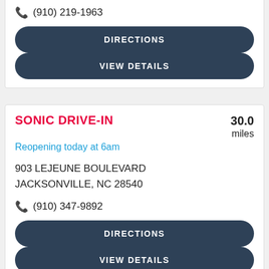(910) 219-1963
DIRECTIONS
VIEW DETAILS
SONIC DRIVE-IN
Reopening today at 6am
30.0 miles
903 LEJEUNE BOULEVARD
JACKSONVILLE, NC 28540
(910) 347-9892
DIRECTIONS
VIEW DETAILS